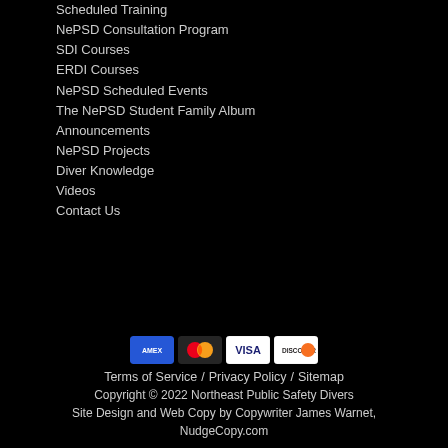Scheduled Training
NePSD Consultation Program
SDI Courses
ERDI Courses
NePSD Scheduled Events
The NePSD Student Family Album
Announcements
NePSD Projects
Diver Knowledge
Videos
Contact Us
[Figure (other): Payment method icons: American Express, Mastercard, Visa, Discover]
Terms of Service / Privacy Policy / Sitemap
Copyright © 2022 Northeast Public Safety Divers
Site Design and Web Copy by Copywriter James Warnet, NudgeCopy.com